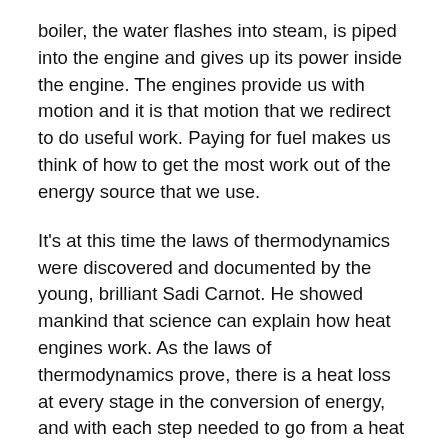boiler, the water flashes into steam, is piped into the engine and gives up its power inside the engine. The engines provide us with motion and it is that motion that we redirect to do useful work. Paying for fuel makes us think of how to get the most work out of the energy source that we use.
It's at this time the laws of thermodynamics were discovered and documented by the young, brilliant Sadi Carnot. He showed mankind that science can explain how heat engines work. As the laws of thermodynamics prove, there is a heat loss at every stage in the conversion of energy, and with each step needed to go from a heat source to the final action of useful work, the efficiency of the process suffers. Other geniuses considered how to build engines that expanded fuel gases directly inside themselves.